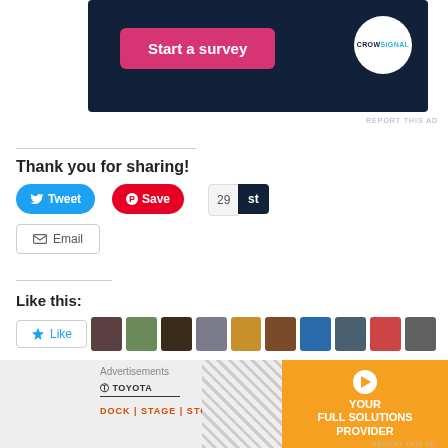[Figure (screenshot): Crowdsignal survey ad banner with dark navy background, pink 'Start a survey' button, and Crowdsignal circular logo on the right]
REPORT THIS AD
Thank you for sharing!
[Figure (screenshot): Social sharing buttons: Tweet (blue), Save (red Pinterest), 29 count, st button, and Email button]
Like this:
[Figure (screenshot): WordPress Like button with star icon and 10 user avatar thumbnails]
527 bloggers like this.
[Figure (screenshot): Bottom advertisement area: Toyota/logistics ad with orange 'YOUR FULL SOLUTIONS PROVIDER' panel on the right]